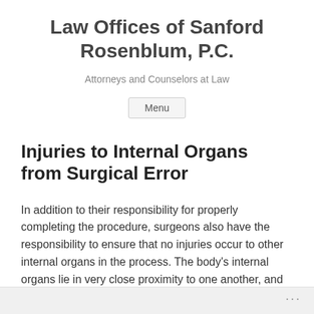Law Offices of Sanford Rosenblum, P.C.
Attorneys and Counselors at Law
Menu
Injuries to Internal Organs from Surgical Error
In addition to their responsibility for properly completing the procedure, surgeons also have the responsibility to ensure that no injuries occur to other internal organs in the process. The body's internal organs lie in very close proximity to one another, and surgeons must take a great deal of care to